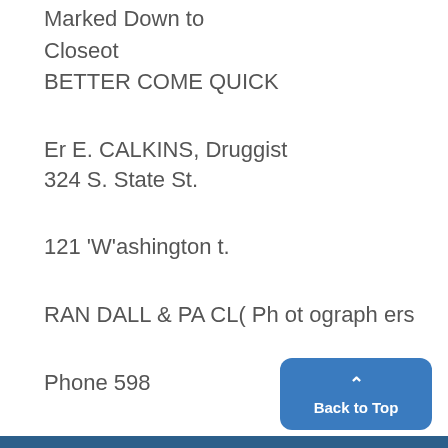Marked Down to
Closeot
BETTER COME QUICK
Er E. CALKINS, Druggist
324 S. State St.
121 'W'ashington t.
RAN DALL & PA CL( Ph ot ograph ers
Phone 598